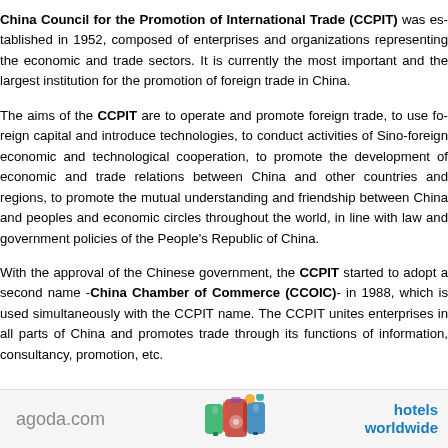China Council for the Promotion of International Trade (CCPIT) was established in 1952, composed of enterprises and organizations representing the economic and trade sectors. It is currently the most important and the largest institution for the promotion of foreign trade in China.
The aims of the CCPIT are to operate and promote foreign trade, to use foreign capital and introduce technologies, to conduct activities of Sino-foreign economic and technological cooperation, to promote the development of economic and trade relations between China and other countries and regions, to promote the mutual understanding and friendship between China and peoples and economic circles throughout the world, in line with law and government policies of the People's Republic of China.
With the approval of the Chinese government, the CCPIT started to adopt a second name -China Chamber of Commerce (CCOIC)- in 1988, which is used simultaneously with the CCPIT name. The CCPIT unites enterprises in all parts of China and promotes trade through its functions of information, consultancy, promotion, etc.
[Figure (other): Agoda.com advertisement banner with colorful icons and 'hotels worldwide' text]